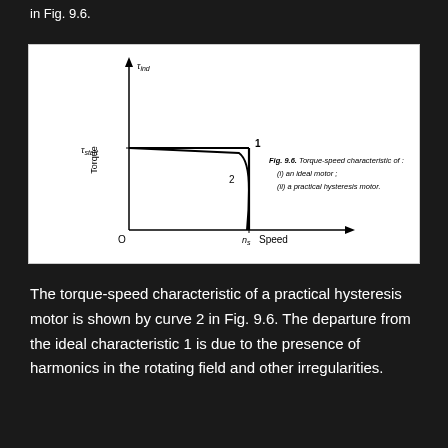in Fig. 9.6.
[Figure (continuous-plot): Torque-speed characteristic graph showing two curves: curve 1 (ideal motor, flat horizontal line at tau_start then dropping vertically at n_s) and curve 2 (practical hysteresis motor, similar but with a sloped drop). Y-axis labeled 'Torque' with arrow and tau_ind at top, tau_start marked on y-axis. X-axis labeled 'Speed' with arrow, n_s marked. Origin labeled O.]
Fig. 9.6. Torque-speed characteristic of: (i) an ideal motor; (ii) a practical hysteresis motor.
The torque-speed characteristic of a practical hysteresis motor is shown by curve 2 in Fig. 9.6. The departure from the ideal characteristic 1 is due to the presence of harmonics in the rotating field and other irregularities.